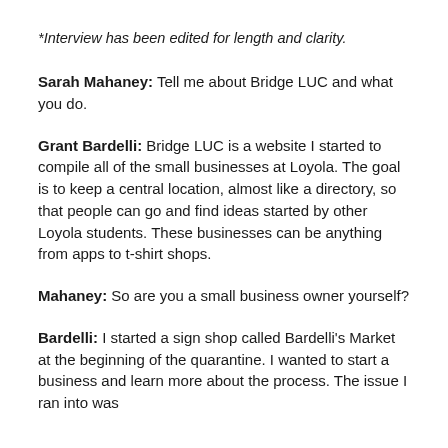*Interview has been edited for length and clarity.
Sarah Mahaney: Tell me about Bridge LUC and what you do.
Grant Bardelli: Bridge LUC is a website I started to compile all of the small businesses at Loyola. The goal is to keep a central location, almost like a directory, so that people can go and find ideas started by other Loyola students. These businesses can be anything from apps to t-shirt shops.
Mahaney: So are you a small business owner yourself?
Bardelli: I started a sign shop called Bardelli's Market at the beginning of the quarantine. I wanted to start a business and learn more about the process. The issue I ran into was